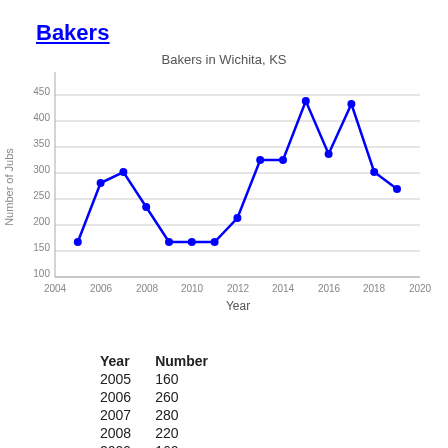Bakers
[Figure (line-chart): Bakers in Wichita, KS]
| Year | Number |
| --- | --- |
| 2005 | 160 |
| 2006 | 260 |
| 2007 | 280 |
| 2008 | 220 |
| 2009 | 160 |
| 2010 | 160 |
| 2011 | 160 |